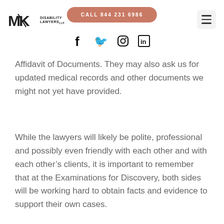MK Disability Lawyers LLC
CALL 844 231 6986
[Figure (logo): MK Disability Lawyers logo and social media icons (Facebook, Twitter, Instagram, LinkedIn)]
Affidavit of Documents. They may also ask us for updated medical records and other documents we might not yet have provided.
While the lawyers will likely be polite, professional and possibly even friendly with each other and with each other’s clients, it is important to remember that at the Examinations for Discovery, both sides will be working hard to obtain facts and evidence to support their own cases.